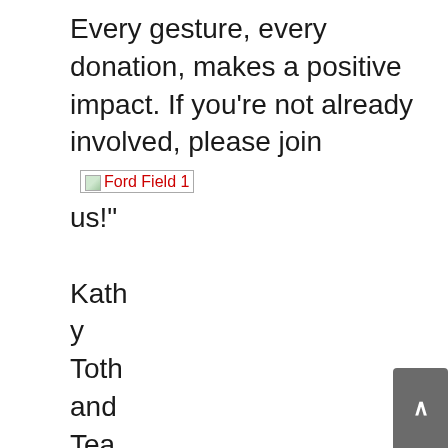Every gesture, every donation, makes a positive impact. If you're not already involved, please join [Ford Field 1 image] us!"

Kathy
Toth
and
Team have been serving Washtenaw County real estate including Dexter, Ann Arbor, Chelsea and Saline clients for over 24 years. They are among the top one percent of REALTORS® nationally and have been featured twice on House Hunters